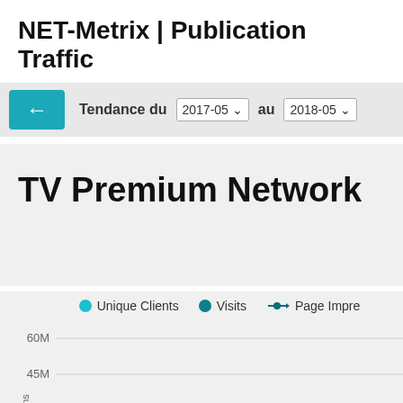NET-Metrix | Publication Traffic
Tendance du 2017-05 au 2018-05
TV Premium Network
[Figure (line-chart): Line chart showing Unique Clients, Visits, and Page Impressions trend from 2017-05 to 2018-05. Y-axis shows values at 60M and 45M gridlines visible.]